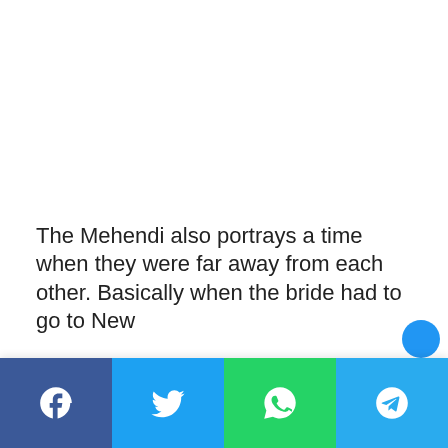The Mehendi also portrays a time when they were far away from each other. Basically when the bride had to go to New...
[Figure (infographic): Social media share bar with four buttons: Facebook (blue), Twitter (light blue), WhatsApp (green), Telegram (cyan)]